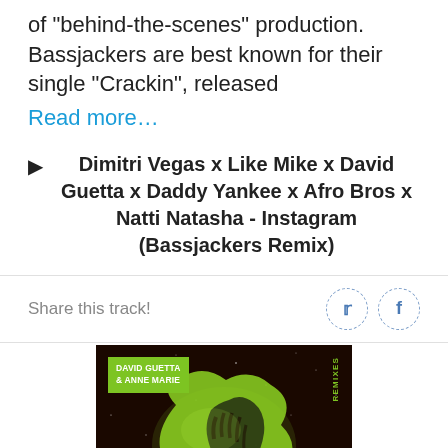of "behind-the-scenes" production. Bassjackers are best known for their single "Crackin", released
Read more…
▶ Dimitri Vegas x Like Mike x David Guetta x Daddy Yankee x Afro Bros x Natti Natasha - Instagram (Bassjackers Remix)
Share this track!
[Figure (photo): Album art for David Guetta & Anne Marie Remixes. Dark background with glowing lime-green organic shape. Green box label reads DAVID GUETTA & ANNE MARIE. Vertical text reads REMIXES and DON'T.]